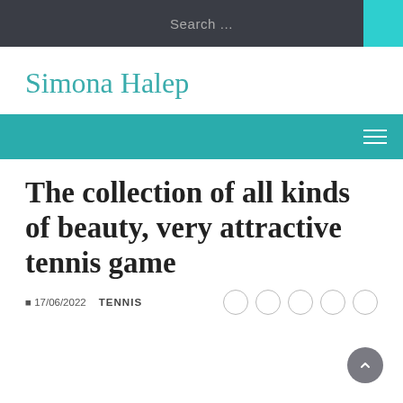Search ...
Simona Halep
The collection of all kinds of beauty, very attractive tennis game
17/06/2022   TENNIS